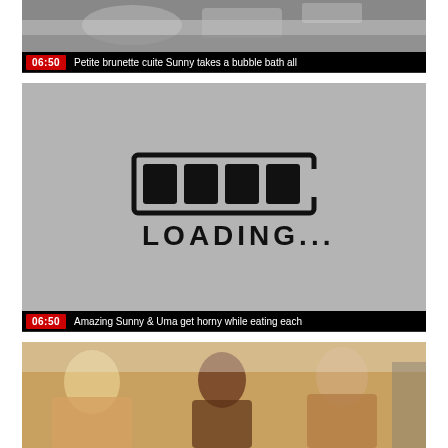[Figure (screenshot): Video thumbnail showing bathroom/bath scene, partially visible]
06:50   Petite brunette cuite Sunny takes a bubble bath all
[Figure (screenshot): Gray loading screen with hand-drawn loading bar graphic and text LOADING...]
06:50   Amazing Sunny & Uma get horny while eating each
[Figure (screenshot): Video thumbnail showing multiple people in indoor scene]